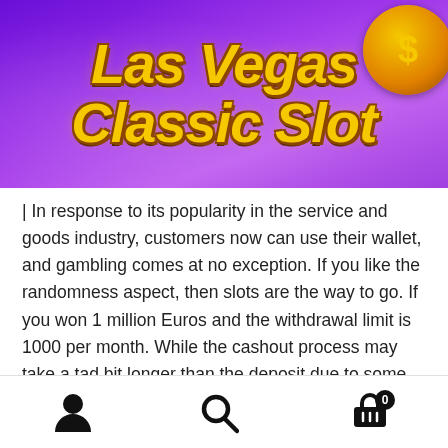[Figure (illustration): Las Vegas Classic Slot promotional banner with purple/violet gradient background, cartoon character at top, large gold stylized text reading 'Las Vegas Classic Slot' with brown shadow, gold coin decoration top right]
| In response to its popularity in the service and goods industry, customers now can use their wallet, and gambling comes at no exception. If you like the randomness aspect, then slots are the way to go. If you won 1 million Euros and the withdrawal limit is 1000 per month. While the cashout process may take a tad bit longer than the deposit due to some minor checks and verifications, it is easy and takes a few minutes at the
User icon | Search icon | Cart icon (0)